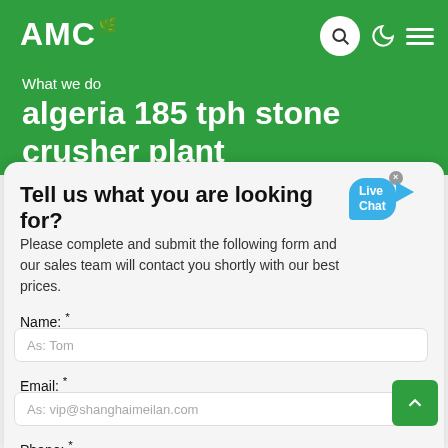AMC
What we do
algeria 185 tph stone crusher plant
Tell us what you are looking for?
Please complete and submit the following form and our sales team will contact you shortly with our best prices.
Name: *
As: Tom
Email: *
As: vip@shanghaimeilan.com
Phone: *
With Country Code